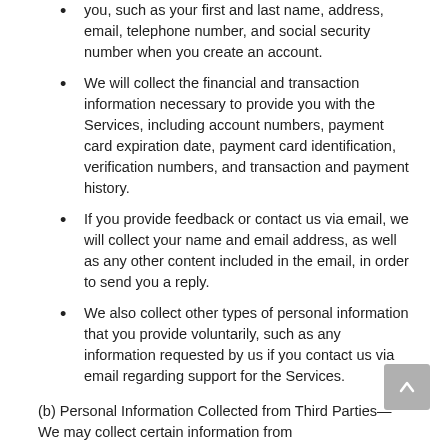you, such as your first and last name, address, email, telephone number, and social security number when you create an account.
We will collect the financial and transaction information necessary to provide you with the Services, including account numbers, payment card expiration date, payment card identification, verification numbers, and transaction and payment history.
If you provide feedback or contact us via email, we will collect your name and email address, as well as any other content included in the email, in order to send you a reply.
We also collect other types of personal information that you provide voluntarily, such as any information requested by us if you contact us via email regarding support for the Services.
(b) Personal Information Collected from Third Parties—We may collect certain information from